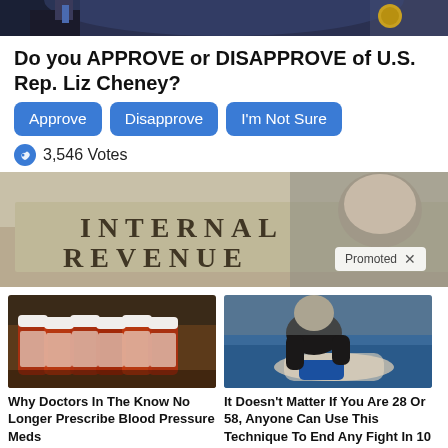[Figure (photo): Top portion of a photo showing two people, partially cropped]
Do you APPROVE or DISAPPROVE of U.S. Rep. Liz Cheney?
Approve  Disapprove  I'm Not Sure
3,546 Votes
[Figure (photo): Photo of Internal Revenue sign building with a person's head visible on the right, with a Promoted badge]
[Figure (photo): Photo of prescription medicine bottles]
[Figure (photo): Photo of two people in a fighting/martial arts scene on a blue mat]
Why Doctors In The Know No Longer Prescribe Blood Pressure Meds
117,274
It Doesn't Matter If You Are 28 Or 58, Anyone Can Use This Technique To End Any Fight In 10 Seconds
46,175